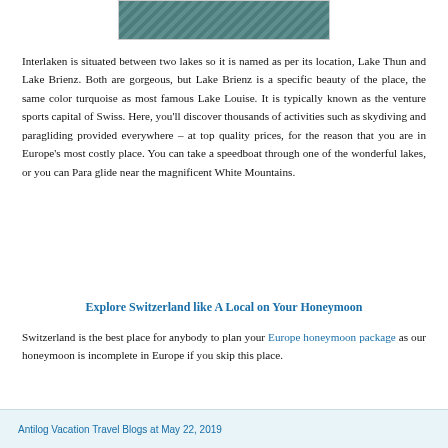[Figure (photo): Partial view of a lake or water scene, teal/turquoise colored, appears to be a cropped top portion of an image of Interlaken lakes area]
Interlaken is situated between two lakes so it is named as per its location, Lake Thun and Lake Brienz. Both are gorgeous, but Lake Brienz is a specific beauty of the place, the same color turquoise as most famous Lake Louise. It is typically known as the venture sports capital of Swiss. Here, you'll discover thousands of activities such as skydiving and paragliding provided everywhere – at top quality prices, for the reason that you are in Europe's most costly place. You can take a speedboat through one of the wonderful lakes, or you can Para glide near the magnificent White Mountains.
Explore Switzerland like A Local on Your Honeymoon
Switzerland is the best place for anybody to plan your Europe honeymoon package as our honeymoon is incomplete in Europe if you skip this place.
Antilog Vacation Travel Blogs at May 22, 2019